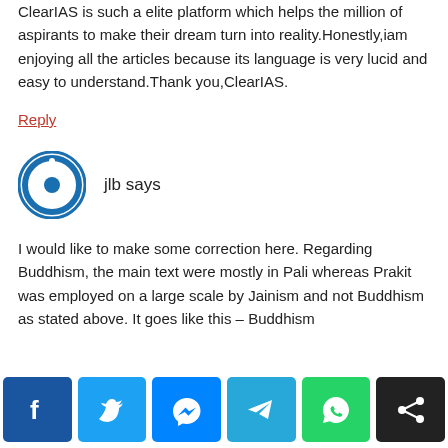ClearIAS is such a elite platform which helps the million of aspirants to make their dream turn into reality.Honestly,iam enjoying all the articles because its language is very lucid and easy to understand.Thank you,ClearIAS.
Reply
jlb says
I would like to make some correction here. Regarding Buddhism, the main text were mostly in Pali whereas Prakit was employed on a large scale by Jainism and not Buddhism as stated above. It goes like this – Buddhism
[Figure (infographic): Social media share buttons row: Facebook (dark blue), Twitter (light blue), Messenger (blue), Telegram (cyan-blue), WhatsApp (green), Share (black)]